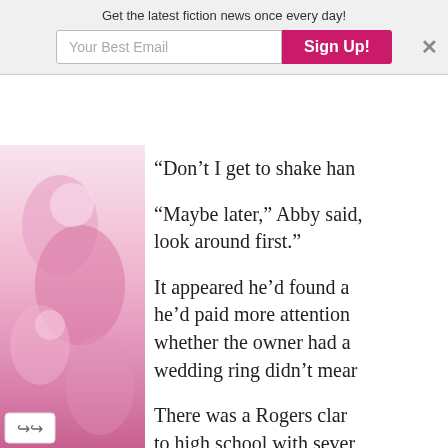Get the latest fiction news once every day!
Your Best Email
Sign Up!
[Figure (photo): Partial view of a colorful illustrated book cover or image with pink and warm tones on the left side of the page]
“Don’t I get to shake han…
“Maybe later,” Abby said, look around first.”
It appeared he’d found a he’d paid more attention whether the owner had a wedding ring didn’t mear
There was a Rogers clar to high school with sever her. Since she had that c was she still married?
He might not be intereste he’d missed feminine cor were unattached and am…